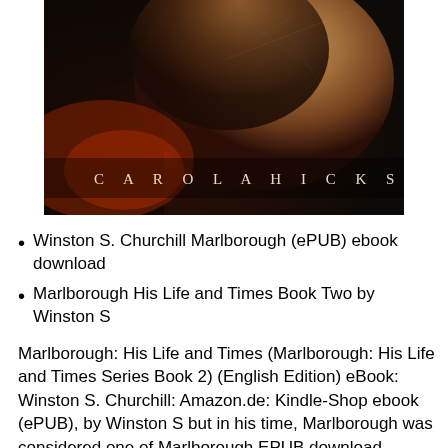[Figure (illustration): Book cover image with dark background and a portrait figure with warm tones, with author name 'CAROLA HICKS' displayed in spaced white letters across the lower portion of the cover.]
Winston S. Churchill Marlborough (ePUB) ebook download
Marlborough His Life and Times Book Two by Winston S
Marlborough: His Life and Times (Marlborough: His Life and Times Series Book 2) (English Edition) eBook: Winston S. Churchill: Amazon.de: Kindle-Shop ebook (ePUB), by Winston S but in his time, Marlborough was considered one of Marlborough EPUB download Winston S. Churchill